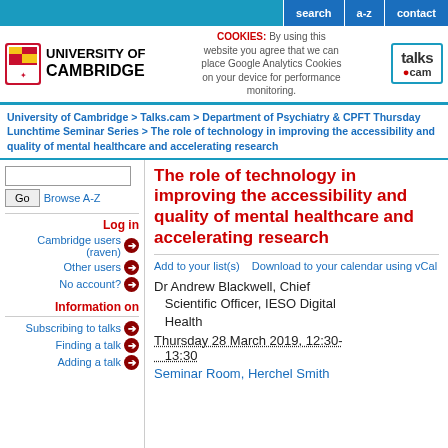search | a-z | contact
[Figure (logo): University of Cambridge logo with shield and text, plus Talks.cam logo and cookie notice]
COOKIES: By using this website you agree that we can place Google Analytics Cookies on your device for performance monitoring.
University of Cambridge > Talks.cam > Department of Psychiatry & CPFT Thursday Lunchtime Seminar Series > The role of technology in improving the accessibility and quality of mental healthcare and accelerating research
The role of technology in improving the accessibility and quality of mental healthcare and accelerating research
Add to your list(s)    Download to your calendar using vCal
Dr Andrew Blackwell, Chief Scientific Officer, IESO Digital Health
Thursday 28 March 2019, 12:30-13:30
Seminar Room, Herchel Smith Building, Forvie Site
Log in
Cambridge users (raven)
Other users
No account?
Information on
Subscribing to talks
Finding a talk
Adding a talk